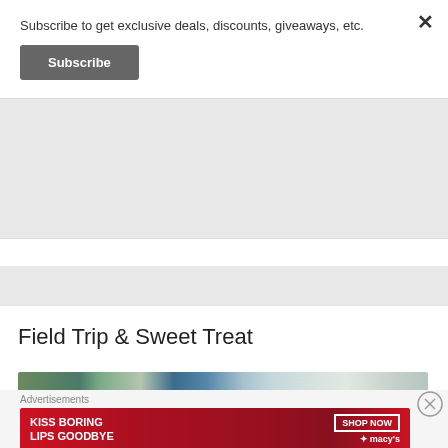Subscribe to get exclusive deals, discounts, giveaways, etc.
Subscribe
Field Trip & Sweet Treat
[Figure (photo): Photo of decorated cupcakes with green icing and popsicle sticks, with a blurred background]
Advertisements
[Figure (illustration): Macy's advertisement banner: KISS BORING LIPS GOODBYE with SHOP NOW button and Macy's logo, featuring a woman with red lips]